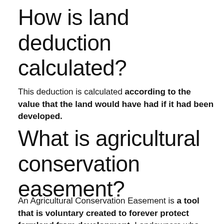How is land deduction calculated?
This deduction is calculated according to the value that the land would have had if it had been developed.
What is agricultural conservation easement?
An Agricultural Conservation Easement is a tool that is voluntary created to forever protect farmland from development. Landowners who choose to place an